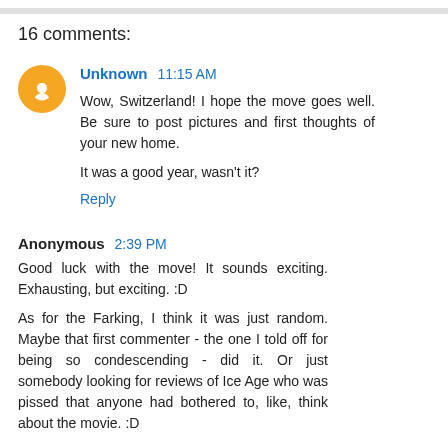16 comments:
Unknown  11:15 AM
Wow, Switzerland! I hope the move goes well. Be sure to post pictures and first thoughts of your new home.

It was a good year, wasn't it?

Reply
Anonymous  2:39 PM
Good luck with the move! It sounds exciting. Exhausting, but exciting. :D

As for the Farking, I think it was just random. Maybe that first commenter - the one I told off for being so condescending - did it. Or just somebody looking for reviews of Ice Age who was pissed that anyone had bothered to, like, think about the movie. :D